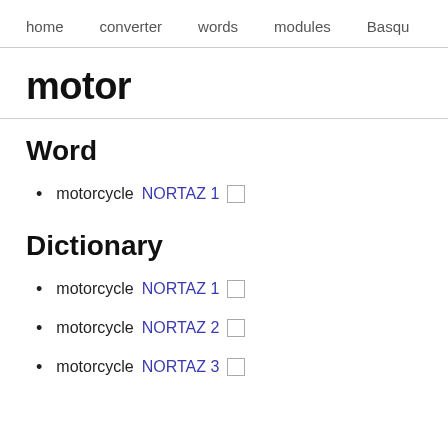home   converter   words   modules   Basqu
motor
Word
motorcycle NORTAZ 1 □
Dictionary
motorcycle NORTAZ 1 □
motorcycle NORTAZ 2 □
motorcycle NORTAZ 3 □